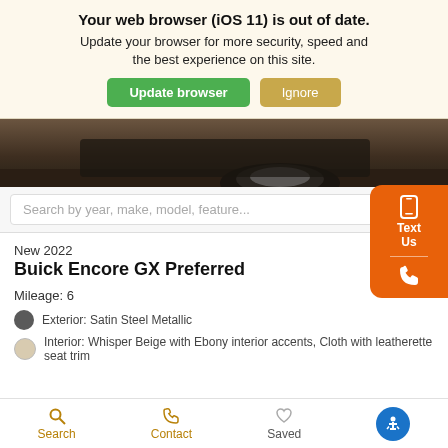Your web browser (iOS 11) is out of date. Update your browser for more security, speed and the best experience on this site. [Update browser] [Ignore]
[Figure (photo): Bottom portion of a car showing wheel and undercarriage on a tiled floor]
Search by year, make, model, feature...
New 2022
Buick Encore GX Preferred
Mileage: 6
Exterior: Satin Steel Metallic
Interior: Whisper Beige with Ebony interior accents, Cloth with leatherette seat trim
Details
Search   Contact   Saved   [Accessibility]